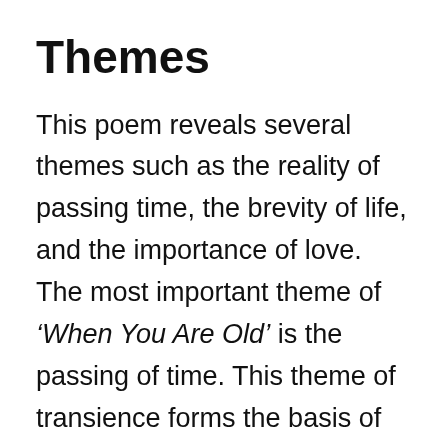Themes
This poem reveals several themes such as the reality of passing time, the brevity of life, and the importance of love. The most important theme of ‘When You Are Old’ is the passing of time. This theme of transience forms the basis of this poem. Here, the poet highlights the fact that how one’s youthful hours fade away with time. Time neither stops nor stoops for anybody. Hence, the lady who is wasting the lover’s time by not accepting his love will suffer badly for the absence of that person.